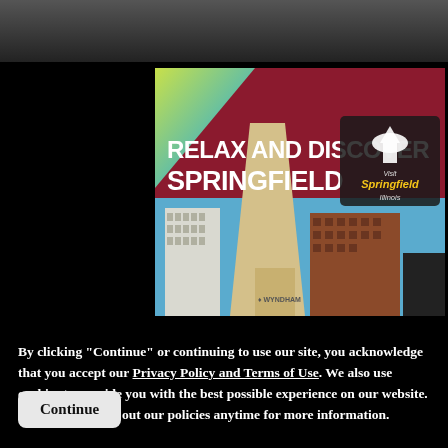[Figure (photo): Dark photo strip at the top of the page showing blurred figures in the background]
[Figure (infographic): Advertisement banner for Visit Springfield Illinois reading 'RELAX AND DISCOVER SPRINGFIELD' with a photo of Springfield downtown buildings including Wyndham hotel on a dark red and blue background with the Visit Springfield Illinois logo]
By clicking "Continue" or continuing to use our site, you acknowledge that you accept our Privacy Policy and Terms of Use. We also use cookies to provide you with the best possible experience on our website. Feel free to check out our policies anytime for more information.
Continue